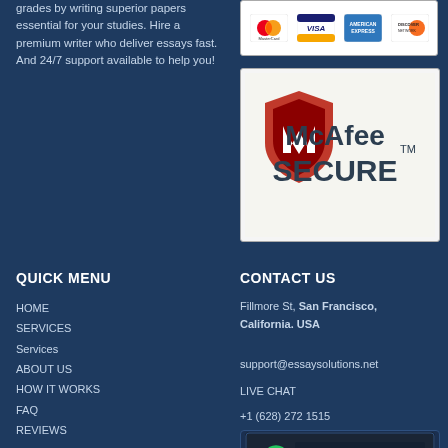grades by writing superior papers essential for your studies. Hire a premium writer who deliver essays fast. And 24/7 support available to help you!
[Figure (other): Payment method logos: MasterCard, VISA, American Express, Discover]
[Figure (logo): McAfee SECURE logo badge on light gray background]
QUICK MENU
HOME
SERVICES
Services
ABOUT US
HOW IT WORKS
FAQ
REVIEWS
CONTACT US
Fillmore St, San Francisco, California. USA
support@essaysolutions.net
LIVE CHAT
+1 (628) 272 1515
[Figure (logo): DMCA Protected logo badge with green padlock icon on dark background]